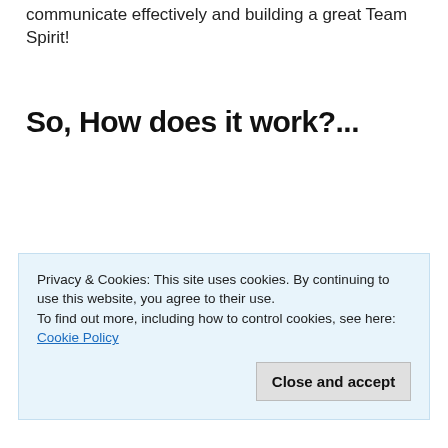communicate effectively and building a great Team Spirit!
So, How does it work?...
Privacy & Cookies: This site uses cookies. By continuing to use this website, you agree to their use.
To find out more, including how to control cookies, see here: Cookie Policy
Close and accept